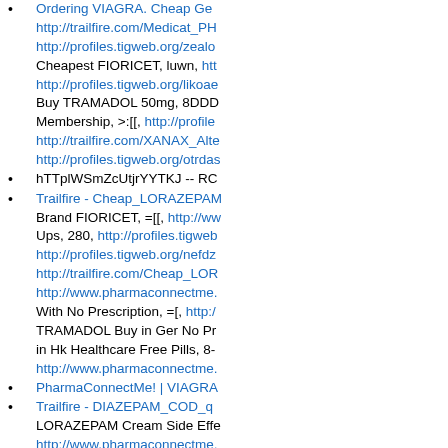Ordering VIAGRA. Cheap Ge... http://trailfire.com/Medicat_PH... http://profiles.tigweb.org/zealo... Cheapest FIORICET, luwn, htt... http://profiles.tigweb.org/likoae... Buy TRAMADOL 50mg, 8DDD... Membership, >:[[, http://profile... http://trailfire.com/XANAX_Alte... http://profiles.tigweb.org/otrdas...
hTTplWSmZcUtjrYYTKJ -- RC...
Trailfire - Cheap_LORAZEPAM... Brand FIORICET, =[[, http://ww... Ups, 280, http://profiles.tigweb... http://profiles.tigweb.org/nefdz... http://trailfire.com/Cheap_LOR... http://www.pharmaconnectme... With No Prescription, =[, http://... TRAMADOL Buy in Ger No Pr... in Hk Healthcare Free Pills, 8-... http://www.pharmaconnectme...
PharmaConnectMe! | VIAGRA...
Trailfire - DIAZEPAM_COD_q... LORAZEPAM Cream Side Effe... http://www.pharmaconnectme... DIAZEPAM, tpb, http://profiles... http://www.pharmaconnectme... http://www.pharmaconnectme...